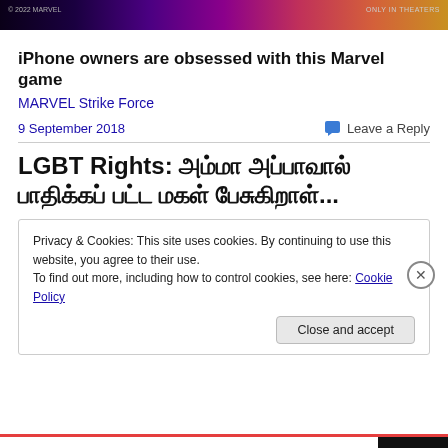[Figure (screenshot): Marvel promotional banner image with dark purple/pink gradient and partial movie imagery]
iPhone owners are obsessed with this Marvel game
MARVEL Strike Force
9 September 2018
Leave a Reply
LGBT Rights: அம்மா அப்பாவால் பாதிக்கப் பட்ட மகள் பேசுகிறாள்...
Privacy & Cookies: This site uses cookies. By continuing to use this website, you agree to their use.
To find out more, including how to control cookies, see here: Cookie Policy
Close and accept